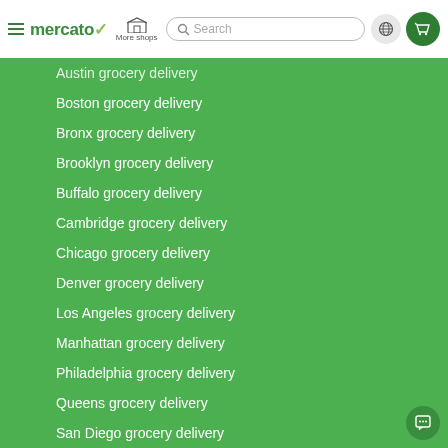mercato — More shops — Search — Globe — Cart
Austin grocery delivery
Boston grocery delivery
Bronx grocery delivery
Brooklyn grocery delivery
Buffalo grocery delivery
Cambridge grocery delivery
Chicago grocery delivery
Denver grocery delivery
Los Angeles grocery delivery
Manhattan grocery delivery
Philadelphia grocery delivery
Queens grocery delivery
San Diego grocery delivery
San Francisco grocery delivery
San Jose grocery delivery
Seattle grocery delivery
Washington grocery delivery